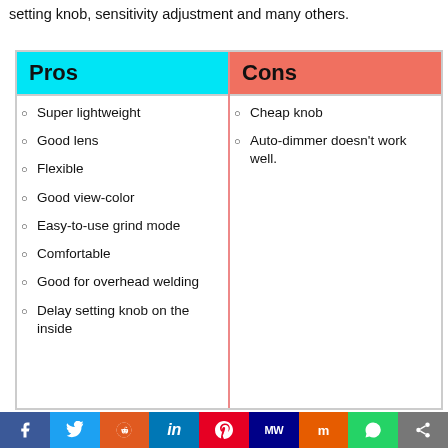setting knob, sensitivity adjustment and many others.
| Pros | Cons |
| --- | --- |
| Super lightweight | Cheap knob |
| Good lens | Auto-dimmer doesn't work well. |
| Flexible |  |
| Good view-color |  |
| Easy-to-use grind mode |  |
| Comfortable |  |
| Good for overhead welding |  |
| Delay setting knob on the inside |  |
f  Twitter  Reddit  in  Pinterest  MW  mix  WhatsApp  share